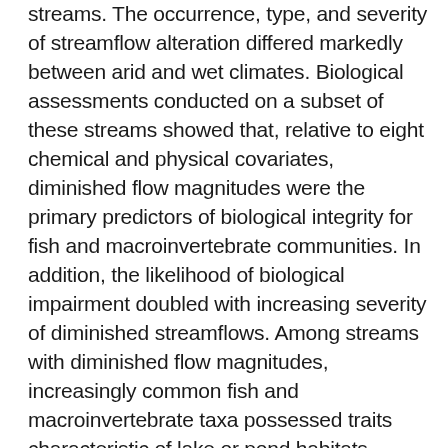streams. The occurrence, type, and severity of streamflow alteration differed markedly between arid and wet climates. Biological assessments conducted on a subset of these streams showed that, relative to eight chemical and physical covariates, diminished flow magnitudes were the primary predictors of biological integrity for fish and macroinvertebrate communities. In addition, the likelihood of biological impairment doubled with increasing severity of diminished streamflows. Among streams with diminished flow magnitudes, increasingly common fish and macroinvertebrate taxa possessed traits characteristic of lake or pond habitats, including a preference for fine-grained substrates and slow-moving currents, as well as the ability to temporarily leave the aquatic environment.